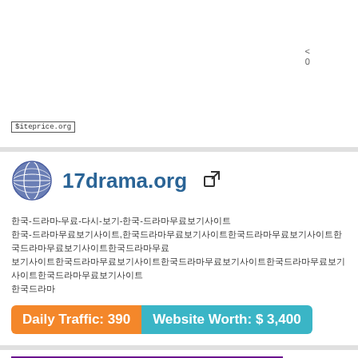[Figure (screenshot): Top portion of a website screenshot with siteprice.org watermark and share icons]
[Figure (screenshot): Globe icon for 17drama.org website listing]
17drama.org (with external link icon)
Korean/Asian language description text for 17drama.org website
Daily Traffic: 390   Website Worth: $ 3,400
[Figure (screenshot): Screenshot of kimcast website with purple navigation bar, SAE banner, search bar, and content columns]